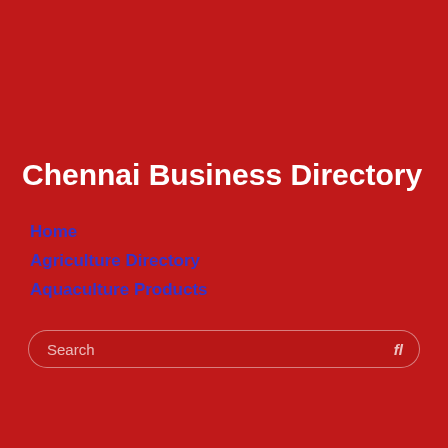Chennai Business Directory
Home
Agriculture Directory
Aquaculture Products
Search